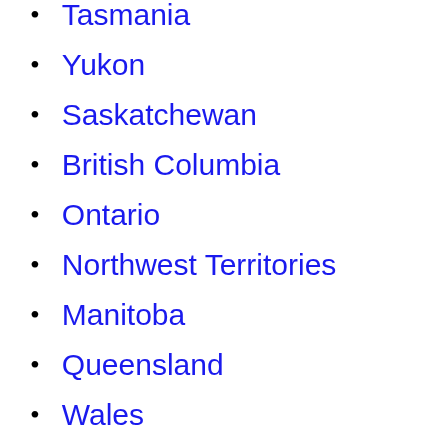Tasmania
Yukon
Saskatchewan
British Columbia
Ontario
Northwest Territories
Manitoba
Queensland
Wales
England
Alberta
Northern Ireland